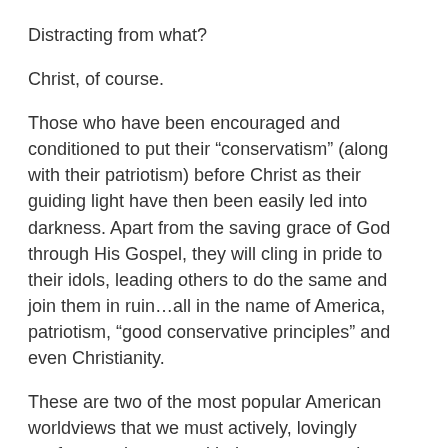Distracting from what?
Christ, of course.
Those who have been encouraged and conditioned to put their “conservatism” (along with their patriotism) before Christ as their guiding light have then been easily led into darkness. Apart from the saving grace of God through His Gospel, they will cling in pride to their idols, leading others to do the same and join them in ruin…all in the name of America, patriotism, “good conservative principles” and even Christianity.
These are two of the most popular American worldviews that we must actively, lovingly confront and correct with the supernatural Gospel-fueled Great Commission of Christ the King.
If we want to truly save sexuality, the family, the work ethic, and the world of economics and business, the only path